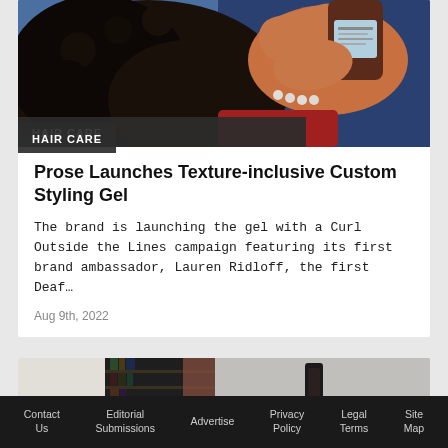[Figure (photo): Woman with curly hair holding a hair product bottle, photographed against a blue background wearing a red top and pearl necklace.]
HAIR CARE
Prose Launches Texture-inclusive Custom Styling Gel
The brand is launching the gel with a Curl Outside the Lines campaign featuring its first brand ambassador, Lauren Ridloff, the first Deaf…
Aug 9th, 2022
[Figure (photo): Partial view of three images at the bottom of the page, partially cut off.]
Contact Us   Editorial Submissions   Advertise   Privacy Policy   Legal Terms   Site Map